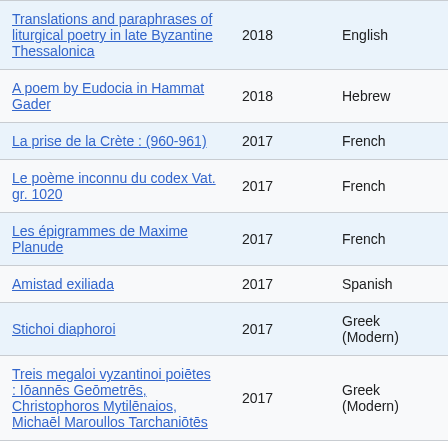| Translations and paraphrases of liturgical poetry in late Byzantine Thessalonica | 2018 | English |
| A poem by Eudocia in Hammat Gader | 2018 | Hebrew |
| La prise de la Crète : (960-961) | 2017 | French |
| Le poème inconnu du codex Vat. gr. 1020 | 2017 | French |
| Les épigrammes de Maxime Planude | 2017 | French |
| Amistad exiliada | 2017 | Spanish |
| Stichoi diaphoroi | 2017 | Greek (Modern) |
| Treis megaloi vyzantinoi poiētes : Iōannēs Geōmetrēs, Christophoros Mytilēnaios, Michaēl Maroullos Tarchaniōtēs | 2017 | Greek (Modern) |